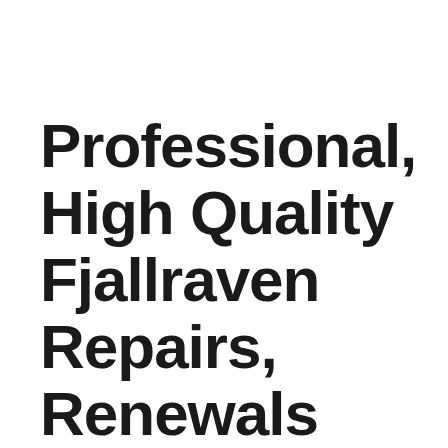Professional, High Quality Fjallraven Repairs, Renewals